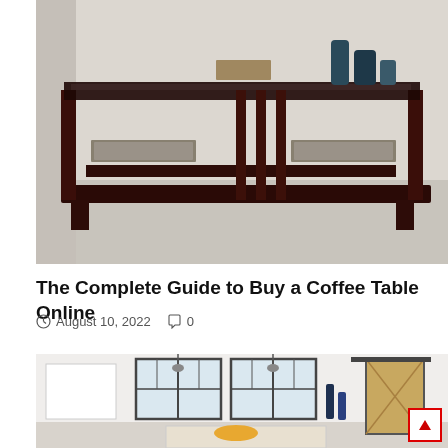[Figure (photo): Photo of a dark mahogany wood coffee table with glass top and shelf, displayed on a light floor with decorative items on top]
The Complete Guide to Buy a Coffee Table Online
August 10, 2022   0
[Figure (photo): Photo of a bright white kitchen interior with large windows, pendant lights, kitchen island, and a barn door visible on the right side]